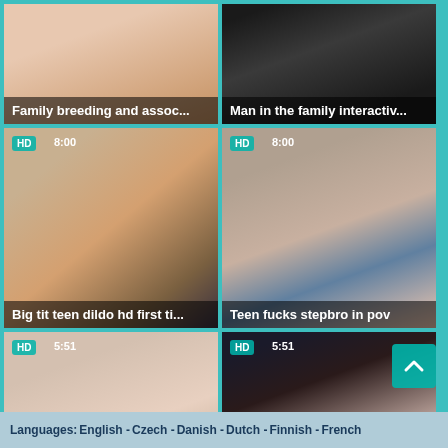[Figure (screenshot): Video thumbnail grid showing 6 adult video thumbnails with titles. Top row: 'Family breeding and assoc...' and 'Man in the family interactiv...'. Middle row: 'Big tit teen dildo hd first ti...' (HD, 8:00) and 'Teen fucks stepbro in pov' (HD, 8:00). Bottom row: 'Milf fucks teen girl with str...' (HD, 5:51) and 'Teen school orgy My Anno...' (HD, 5:51). Page footer shows language links: English, Czech, Danish, Dutch, Finnish, French.]